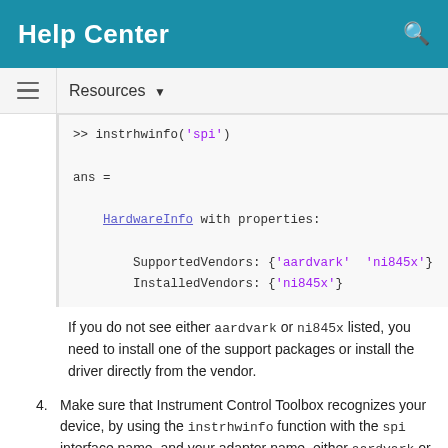Help Center
Resources
>> instrhwinfo('spi')

ans =

    HardwareInfo with properties:

        SupportedVendors: {'aardvark'  'ni845x'}
        InstalledVendors: {'ni845x'}
If you do not see either aardvark or ni845x listed, you need to install one of the support packages or install the driver directly from the vendor.
4. Make sure that Instrument Control Toolbox recognizes your device, by using the instrhwinfo function with the spi interface name, and your adaptor name, either aardvark or ni845x. For example:
>> instrhwinfo('spi' , 'Aardvark')

ans =
HardwareVers: 1aardvark!